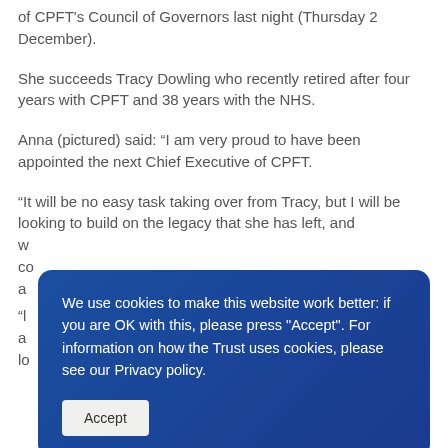of CPFT's Council of Governors last night (Thursday 2 December).
She succeeds Tracy Dowling who recently retired after four years with CPFT and 38 years with the NHS.
Anna (pictured) said: “I am very proud to have been appointed the next Chief Executive of CPFT.
“It will be no easy task taking over from Tracy, but I will be looking to build on the legacy that she has left, and w… co… a…
“l… a… lo…
[Figure (screenshot): Cookie consent banner overlay with dark blue background, white text reading 'We use cookies to make this website work better: if you are OK with this, please press "Accept". For information on how the Trust uses cookies, please see our Privacy policy.' and an Accept button.]